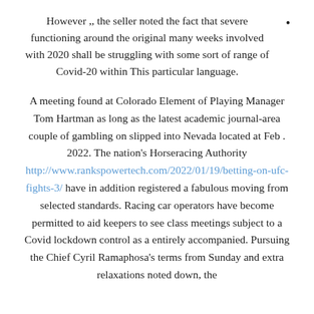However ,, the seller noted the fact that severe functioning around the original many weeks involved with 2020 shall be struggling with some sort of range of Covid-20 within This particular language.
A meeting found at Colorado Element of Playing Manager Tom Hartman as long as the latest academic journal-area couple of gambling on slipped into Nevada located at Feb . 2022. The nation's Horseracing Authority http://www.rankspowertech.com/2022/01/19/betting-on-ufc-fights-3/ have in addition registered a fabulous moving from selected standards. Racing car operators have become permitted to aid keepers to see class meetings subject to a Covid lockdown control as a entirely accompanied. Pursuing the Chief Cyril Ramaphosa's terms from Sunday and extra relaxations noted down, the